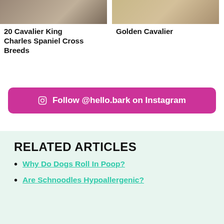[Figure (photo): Photo of a Cavalier King Charles Spaniel cross breed dog, close up, grey-brown tones]
[Figure (photo): Photo of a Golden Cavalier dog standing on pavement, golden/tan coloring]
20 Cavalier King Charles Spaniel Cross Breeds
Golden Cavalier
Follow @hello.bark on Instagram
RELATED ARTICLES
Why Do Dogs Roll In Poop?
Are Schnoodles Hypoallergenic?